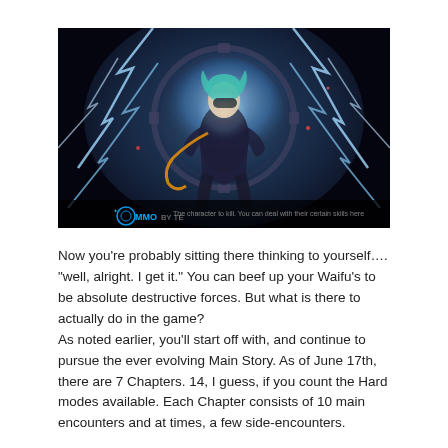[Figure (illustration): Anime-style game screenshot showing a character with teal hair, mechanical gear/wheel behind them, wearing dark outfit, with blue lightning effects. MMO logo visible in bottom left corner.]
Now you're probably sitting there thinking to yourself…. "well, alright. I get it." You can beef up your Waifu's to be absolute destructive forces. But what is there to actually do in the game?
As noted earlier, you'll start off with, and continue to pursue the ever evolving Main Story. As of June 17th, there are 7 Chapters. 14, I guess, if you count the Hard modes available. Each Chapter consists of 10 main encounters and at times, a few side-encounters.